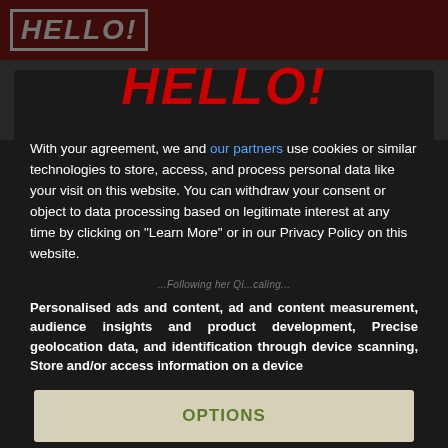[Figure (screenshot): HELLO! magazine website screenshot showing navigation bar with HELLO! logo, CELEBRITIES, HOMES, FOOD menu items, and a Weddings breadcrumb. A dark cookie consent modal overlays the page with a large red HELLO! logo, consent text, and two buttons: OPTIONS and AGREE.]
With your agreement, we and our partners use cookies or similar technologies to store, access, and process personal data like your visit on this website. You can withdraw your consent or object to data processing based on legitimate interest at any time by clicking on "Learn More" or in our Privacy Policy on this website.
Personalised ads and content, ad and content measurement, audience insights and product development, Precise geolocation data, and identification through device scanning, Store and/or access information on a device
OPTIONS
AGREE